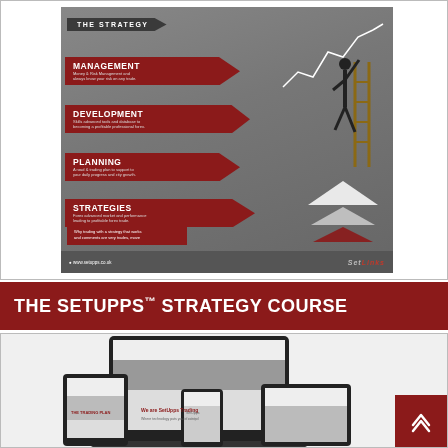[Figure (infographic): The Strategy infographic showing management, development, planning, and strategies with arrows, a person climbing a ladder, a rising chart line, and a pyramid. SetUpps branding at bottom.]
THE SETUPPS™ STRATEGY COURSE
[Figure (screenshot): Screenshot showing multiple devices (laptop, tablet, phone) displaying the SetUpps Trading website and trading plan content.]